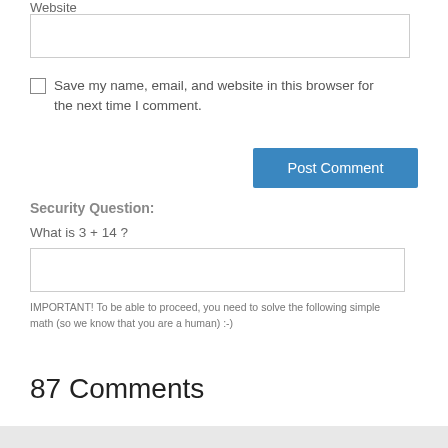Website
Save my name, email, and website in this browser for the next time I comment.
Post Comment
Security Question:
What is 3 + 14 ?
IMPORTANT! To be able to proceed, you need to solve the following simple math (so we know that you are a human) :-)
87 Comments